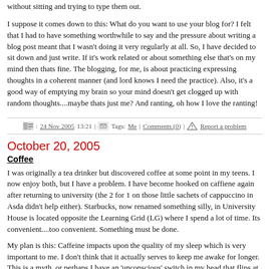without sitting and trying to type them out.
I suppose it comes down to this: What do you want to use your blog for? I felt that I had to have something worthwhile to say and the pressure about writing a blog post meant that I wasn't doing it very regularly at all. So, I have decided to sit down and just write. If it's work related or about something else that's on my mind then thats fine. The blogging, for me, is about practicing expressing thoughts in a coherent manner (and lord knows I need the practice). Also, it's a good way of emptying my brain so your mind doesn't get clogged up with random thoughts....maybe thats just me? And ranting, oh how I love the ranting!
24 Nov 2005 13:21 | Tags: Me | Comments (0) | Report a problem
October 20, 2005
Coffee
I was originally a tea drinker but discovered coffee at some point in my teens. I now enjoy both, but I have a problem. I have become hooked on caffiene again after returning to university (the 2 for 1 on those little sachets of cappuccino in Asda didn't help either). Starbucks, now renamed something silly, in University House is located opposite the Learning Grid (LG) where I spend a lot of time. Its convenient....too convenient. Something must be done.
My plan is this: Caffeine impacts upon the quality of my sleep which is very important to me. I don't think that it actually serves to keep me awake for longer. This is a myth, or perhaps I have an 'unconscious' switch in my head that flips at some point between 10pm and 11pm. Coffee is also nice. I should, therefore